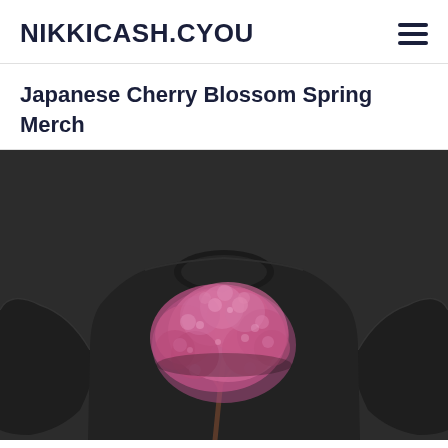NIKKICASH.CYOU
Japanese Cherry Blossom Spring Merch
[Figure (photo): Black long-sleeve t-shirt with a pink Japanese cherry blossom tree printed on the front, photographed against a dark background.]